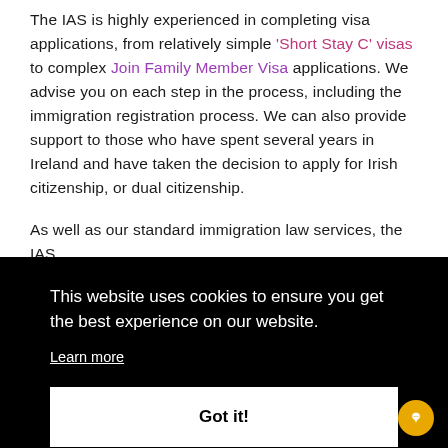The IAS is highly experienced in completing visa applications, from relatively simple 'Short Stay C' visas to complex Join Family Member Visa applications. We advise you on each step in the process, including the immigration registration process. We can also provide support to those who have spent several years in Ireland and have taken the decision to apply for Irish citizenship, or dual citizenship.
As well as our standard immigration law services, the IAS
This website uses cookies to ensure you get the best experience on our website.
Learn more
Got it!